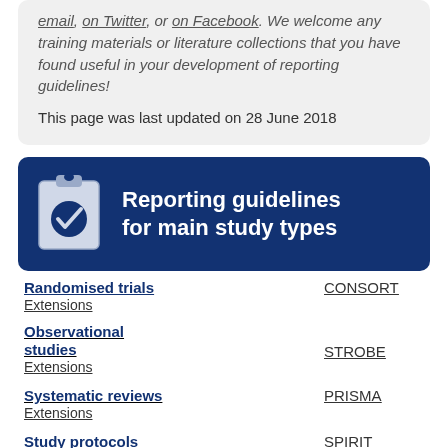email, on Twitter, or on Facebook. We welcome any training materials or literature collections that you have found useful in your development of reporting guidelines!
This page was last updated on 28 June 2018
[Figure (infographic): Dark blue banner with clipboard checkmark icon and white bold text reading 'Reporting guidelines for main study types']
Randomised trials   CONSORT
Extensions
Observational studies   STROBE
Extensions
Systematic reviews   PRISMA
Extensions
Study protocols   SPIRIT